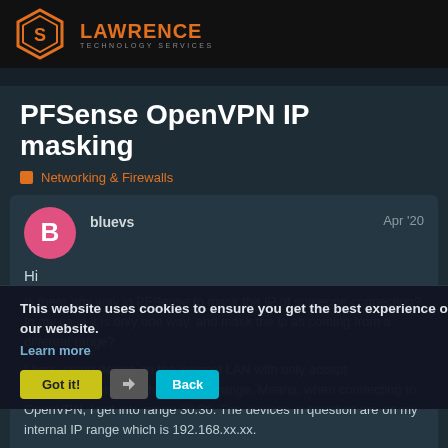Lawrence Technology Services
PFSense OpenVPN IP masking
Networking & Firewalls
bluevs  Apr '20
Hi
Is there any way in PFSense to mask the IP of someone connecting? In my case it is only one way, and mask the ip as coming from a different range?
I have some device on the internal LAN with only accept communication from the same IP range. Means, when connecting to OpenVPN, I get into range 30.30. The devices in question are on my internal IP range which is 192.168.xx.xx.
This website uses cookies to ensure you get the best experience on our website.
Learn more
Got it!
Back
1 / 6